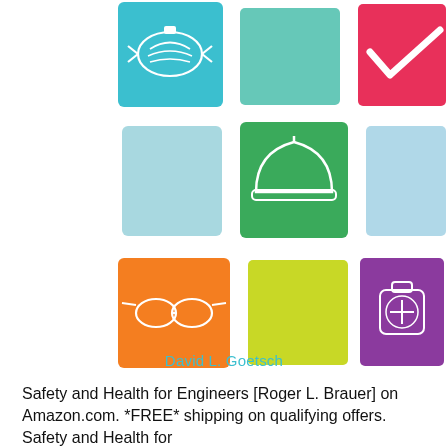[Figure (illustration): Book cover illustration showing a 3x3 grid of safety-related icons on colored square backgrounds: top row has a blue medical mask, teal/mint plain square, and pink/red checkmark; middle row has light blue plain square, green construction hard hat, and light blue plain square; bottom row has orange safety goggles, yellow-green plain square, and purple first aid kit with plus sign.]
David L. Goetsch
Safety and Health for Engineers [Roger L. Brauer] on Amazon.com. *FREE* shipping on qualifying offers. Safety and Health for